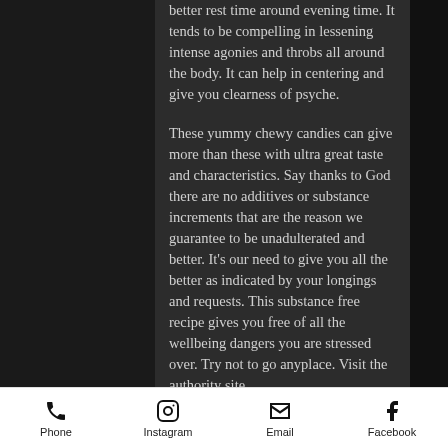better rest time around evening time. It tends to be compelling in lessening intense agonies and throbs all around the body. It can help in centering and give you clearness of psyche.
These yummy chewy candies can give more than these with ultra great taste and characteristics. Say thanks to God there are no additives or substance increments that are the reason we guarantee to be unadulterated and better. It's our need to give you all the better as indicated by your longings and requests. This substance free recipe gives you free of all the wellbeing dangers you are stressed over. Try not to go anyplace. Visit the authority site.
Cannaleafz CBD Gummies
Phone | Instagram | Email | Facebook